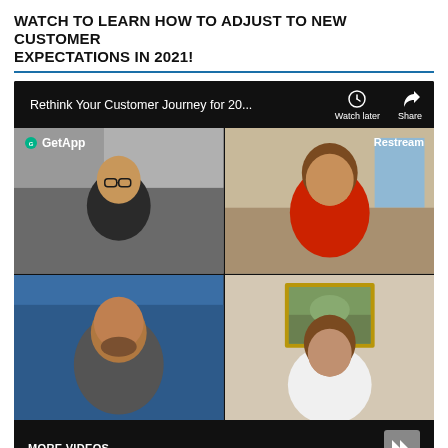WATCH TO LEARN HOW TO ADJUST TO NEW CUSTOMER EXPECTATIONS IN 2021!
[Figure (screenshot): YouTube video screenshot showing a webinar titled 'Rethink Your Customer Journey for 20...' with four video panels showing participants. Top-left panel shows a man with glasses with GetApp logo overlay. Top-right panel shows a woman in red with Restream label. Bottom-left shows a bald man against blue background. Bottom-right shows a woman with painting behind her. Bottom bar shows 'MORE VIDEOS' text and forward arrow icon. A red progress bar is visible at the bottom.]